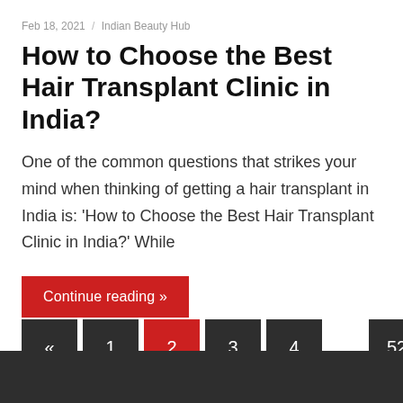Feb 18, 2021 / Indian Beauty Hub
How to Choose the Best Hair Transplant Clinic in India?
One of the common questions that strikes your mind when thinking of getting a hair transplant in India is: ‘How to Choose the Best Hair Transplant Clinic in India?’ While
Continue reading »
«  1  2  3  4  …  52  »